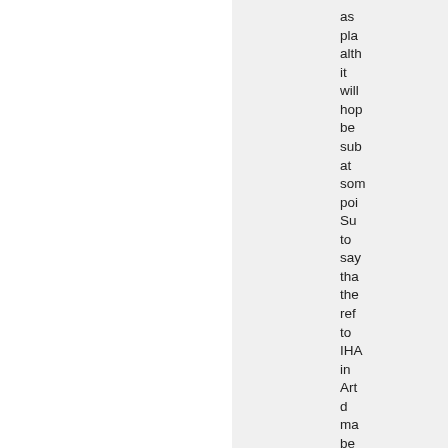as pla alth it will hop be sub at som poi Su to say tha the ref to IHA in Art d ma be ab